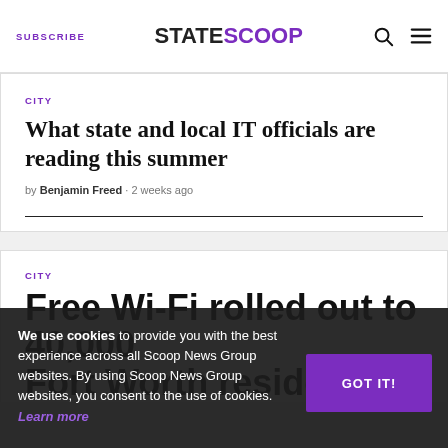SUBSCRIBE | STATESCOOP | [search] [menu]
CITY
What state and local IT officials are reading this summer
by Benjamin Freed · 2 weeks ago
CITY
Free Wi-Fi rolled out to 40,000 Fort Worth residents
We use cookies to provide you with the best experience across all Scoop News Group websites. By using Scoop News Group websites, you consent to the use of cookies. Learn more